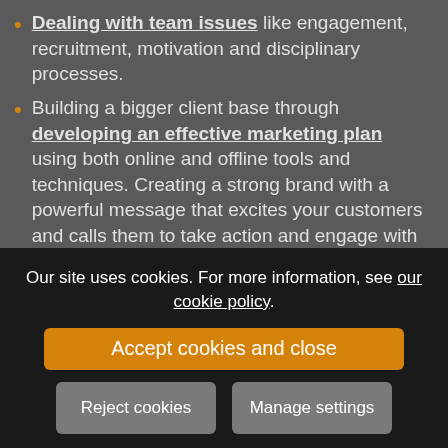Dealing with team issues like engagement, recruitment, motivation and disciplinary processes.
Building a bigger client base through developing an effective marketing plan using both online and offline tools and techniques. Creating a strong brand with a powerful message that excites your customers and calls them to take action and engage with you.
Improving your sales processes and skills to improve your conversion rate and make sure you win more opportunities.
Our site uses cookies. For more information, see our cookie policy.
Accept cookies and close
Reject cookies
Manage settings